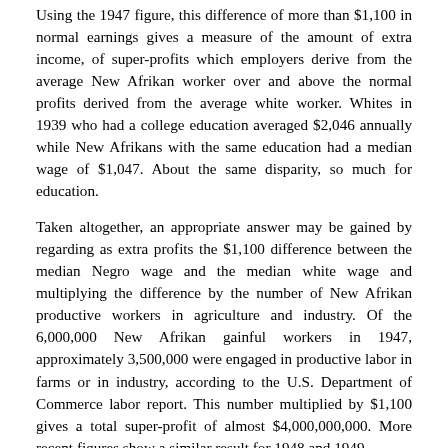Using the 1947 figure, this difference of more than $1,100 in normal earnings gives a measure of the amount of extra income, of super-profits which employers derive from the average New Afrikan worker over and above the normal profits derived from the average white worker. Whites in 1939 who had a college education averaged $2,046 annually while New Afrikans with the same education had a median wage of $1,047. About the same disparity, so much for education.
Taken altogether, an appropriate answer may be gained by regarding as extra profits the $1,100 difference between the median Negro wage and the median white wage and multiplying the difference by the number of New Afrikan productive workers in agriculture and industry. Of the 6,000,000 New Afrikan gainful workers in 1947, approximately 3,500,000 were engaged in productive labor in farms or in industry, according to the U.S. Department of Commerce labor report. This number multiplied by $1,100 gives a total super-profit of almost $4,000,000,000. More recent figures show a similar result for 1948 and 1949.
On top of this, the jobs with the highest percentage of New Afrikans include those of the least desired, due to working conditions, low pay and risk of accident and disease, such as logging, saw mills, fertilizer plants, hospital workers, nursing home workers, U.S.